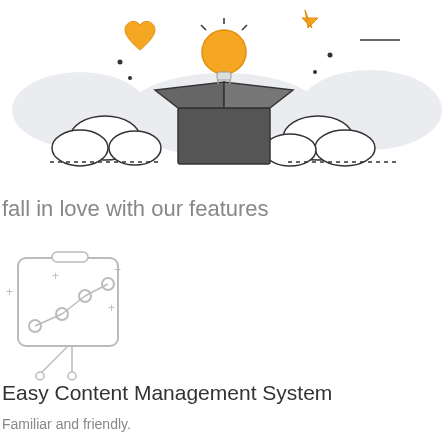[Figure (illustration): Hero illustration showing an open box with a lightbulb, heart, and star floating above surrounded by clouds, on a light blue background]
fall in love with our features
[Figure (illustration): Line chart icon on a presentation board/easel with data points connected by lines and plus signs around it]
Easy Content Management System
Familiar and friendly.